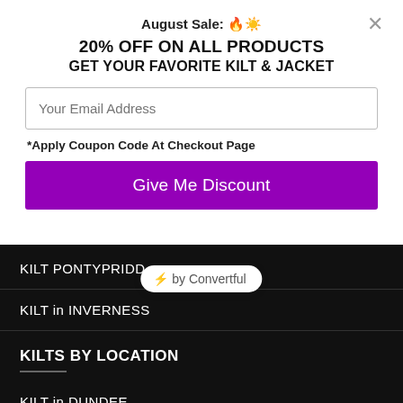August Sale: 🔥☀️
20% OFF ON ALL PRODUCTS
GET YOUR FAVORITE KILT & JACKET
Your Email Address
*Apply Coupon Code At Checkout Page
Give Me Discount
[Figure (other): Convertful badge with lightning bolt icon]
KILT PONTYPRIDD
KILT in INVERNESS
KILTS BY LOCATION
KILT in DUNDEE
KILT in DOUGLAS